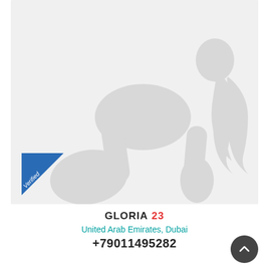[Figure (illustration): Silhouette placeholder image of a female figure on all fours with long wavy hair, light gray on white background. A blue 'Verified' diagonal badge is in the bottom-left corner of the image.]
GLORIA 23
United Arab Emirates, Dubai
+79011495282